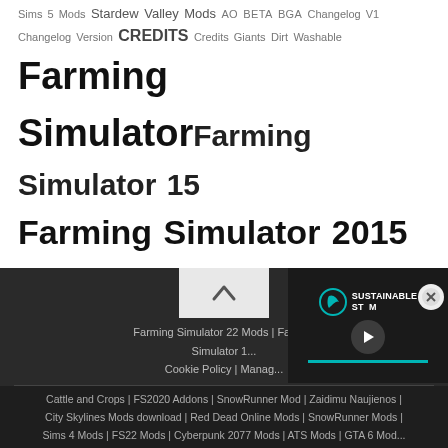Sims 5 Mods Stardew Valley Mods AO BETA BGA Changelog V1 Changelog Version CREDITS Credits Giants Dirt Washable Farming Simulator Farming Simulator 15 Farming Simulator 2015 FENDT FL FS GE GIANTS Giants Editor Giants Software HP IC IMPORTANT INFO JCB John Deere KAMAZ LOG LS MAN Manuel Leithner Massey Ferguson MOD Modell Giants MP MTZ New Holland PDA Ploughing Spec PS PTO Required Mods SP TFSGROUP TRACTOR TSL UPK
[Figure (screenshot): Dark footer section with scroll-up button, video overlay showing Sustainable Stream logo with play button and teal progress bar, and a close button]
Farming Simulator 22 Mods | Farmi... Simulator 1...
Cookie Policy | Manag...
Cattle and Crops | FS2020 Addons | SnowRunner Mod | Zaidimu Naujienos | City Skylines Mods download | Red Dead Online Mods | SnowRunner Mods | Sims 4 Mods | FS22 Mods | Cyberpunk 2077 Mods | ATS Mods | GTA 6 Mod...